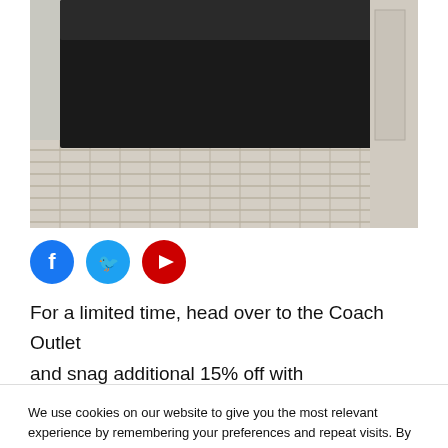[Figure (photo): A black leather tote bag on a white wicker surface, shown from below the handles]
[Figure (infographic): Social media icon buttons: Facebook (blue circle), Twitter (light blue circle), YouTube (red circle)]
For a limited time, head over to the Coach Outlet and snag additional 15% off with
We use cookies on our website to give you the most relevant experience by remembering your preferences and repeat visits. By clicking “Accept”, you consent to the use of ALL the cookies.
Do not sell my personal information.
Cookie Settings
Accept